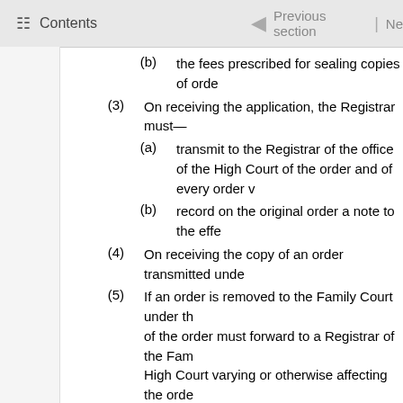Contents | Previous section | Ne
(b)    the fees prescribed for sealing copies of orde...
(3)   On receiving the application, the Registrar must—
(a)    transmit to the Registrar of the office of the High Court of the order and of every order v...
(b)    record on the original order a note to the effe...
(4)   On receiving the copy of an order transmitted unde...
(5)   If an order is removed to the Family Court under th... of the order must forward to a Registrar of the Fam... High Court varying or otherwise affecting the orde...
Compare: 1968 No 63 s 26
Section 127(1): amended, on 1 March 2017, by section 261 of t...
Section 127(3)(a): amended, on 1 March 2017, by section 261 o...
Section 127(5): amended, on 1 March 2017, by section 261 of t...
Proce...
128  Evidence
[Repealed]
Section 128: repealed, on 31 March 2014, by section 17A(b) o...